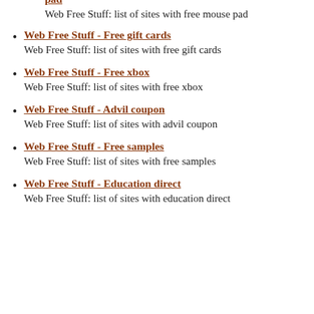pad
Web Free Stuff: list of sites with free mouse pad
Web Free Stuff - Free gift cards
Web Free Stuff: list of sites with free gift cards
Web Free Stuff - Free xbox
Web Free Stuff: list of sites with free xbox
Web Free Stuff - Advil coupon
Web Free Stuff: list of sites with advil coupon
Web Free Stuff - Free samples
Web Free Stuff: list of sites with free samples
Web Free Stuff - Education direct
Web Free Stuff: list of sites with education direct